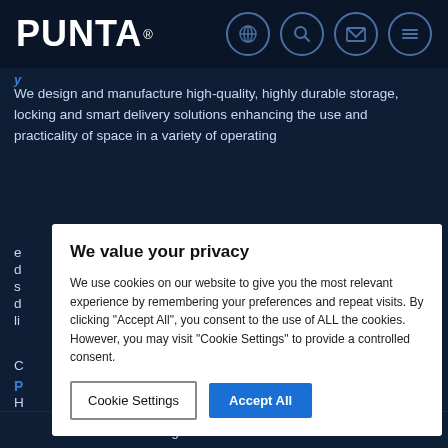PUNTA®
We design and manufacture high-quality, highly durable storage, locking and smart delivery solutions enhancing the use and practicality of space in a variety of operating
[Figure (screenshot): Cookie consent modal dialog with title 'We value your privacy', body text about cookies, and two buttons: 'Cookie Settings' and 'Accept All']
Locking solutions    25460 KISKO